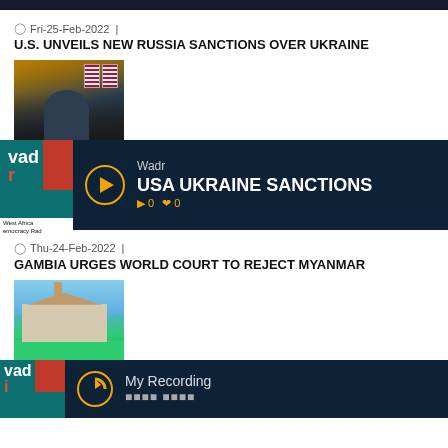Fri-25-Feb-2022 |
U.S. UNVEILS NEW RUSSIA SANCTIONS OVER UKRAINE
[Figure (photo): Person at podium with US flags in background]
[Figure (other): Wadr audio player: USA UKRAINE SANCTIONS, 0 plays, 0 likes]
Thu-24-Feb-2022 |
GAMBIA URGES WORLD COURT TO REJECT MYANMAR
[Figure (photo): Court building with green lawn and blue sky]
[Figure (other): Wadr audio player: My Recording]